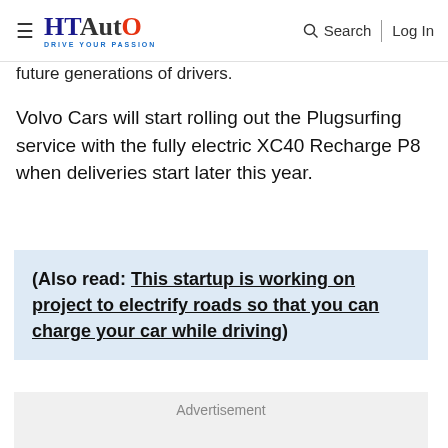HT Auto – Drive Your Passion | Search | Log In
future generations of drivers.
Volvo Cars will start rolling out the Plugsurfing service with the fully electric XC40 Recharge P8 when deliveries start later this year.
(Also read: This startup is working on project to electrify roads so that you can charge your car while driving)
Advertisement